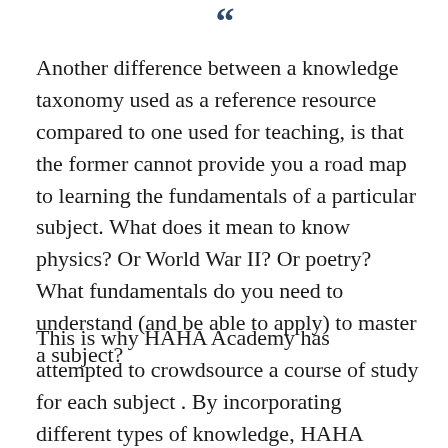[Figure (illustration): Decorative double quotation mark in dark blue/teal color at top center of page]
Another difference between a knowledge taxonomy used as a reference resource compared to one used for teaching, is that the former cannot provide you a road map to learning the fundamentals of a particular subject. What does it mean to know physics? Or World War II? Or poetry? What fundamentals do you need to understand (and be able to apply) to master a subject?
This is why HAHA Academy has attempted to crowdsource a course of study for each subject . By incorporating different types of knowledge, HAHA Academy also includes a